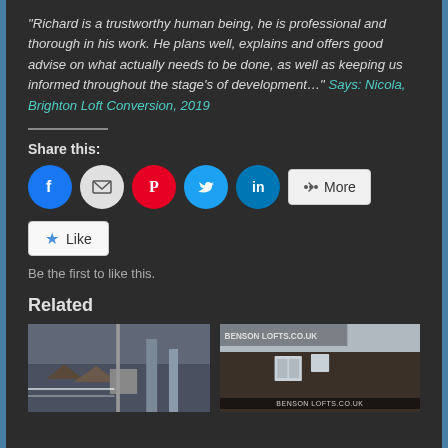"Richard is a trustworthy human being, he is professional and thorough in his work. He plans well, explains and offers good advise on what actually needs to be done, as well as keeping us informed throughout the stage's of development..." Says: Nicola, Brighton Loft Conversion, 2019
Share this:
[Figure (infographic): Social share buttons: Facebook (blue circle), Email (grey circle), Pinterest (red circle), Twitter (cyan circle), LinkedIn (dark cyan circle), and a More button]
[Figure (infographic): Like button with star icon]
Be the first to like this.
Related
[Figure (photo): Left photo: balcony railing with rooftop view of houses]
[Figure (photo): Right photo: loft building exterior with Benson Lofts signage]